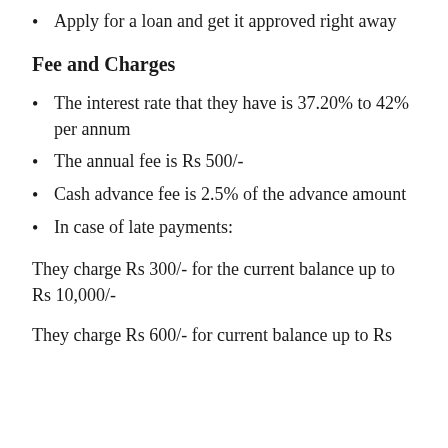Apply for a loan and get it approved right away
Fee and Charges
The interest rate that they have is 37.20% to 42% per annum
The annual fee is Rs 500/-
Cash advance fee is 2.5% of the advance amount
In case of late payments:
They charge Rs 300/- for the current balance up to Rs 10,000/-
They charge Rs 600/- for current balance up to Rs 10,001/- to 25,000/-